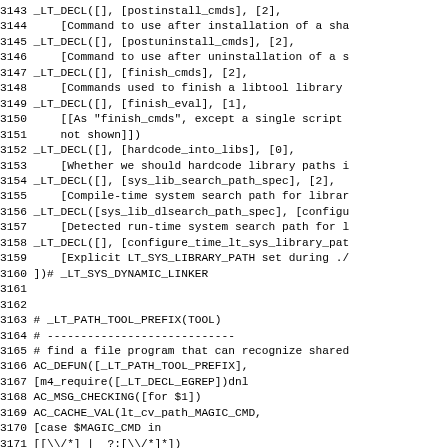3143 _LT_DECL([], [postinstall_cmds], [2],
3144     [Command to use after installation of a sha
3145 _LT_DECL([], [postuninstall_cmds], [2],
3146     [Command to use after uninstallation of a s
3147 _LT_DECL([], [finish_cmds], [2],
3148     [Commands used to finish a libtool library
3149 _LT_DECL([], [finish_eval], [1],
3150     [[As "finish_cmds", except a single script
3151     not shown]])
3152 _LT_DECL([], [hardcode_into_libs], [0],
3153     [Whether we should hardcode library paths i
3154 _LT_DECL([], [sys_lib_search_path_spec], [2],
3155     [Compile-time system search path for librar
3156 _LT_DECL([sys_lib_dlsearch_path_spec], [configu
3157     [Detected run-time system search path for l
3158 _LT_DECL([], [configure_time_lt_sys_library_pat
3159     [Explicit LT_SYS_LIBRARY_PATH set during ./
3160 ])# _LT_SYS_DYNAMIC_LINKER
3161 
3162 
3163 # _LT_PATH_TOOL_PREFIX(TOOL)
3164 # ----------------------------
3165 # find a file program that can recognize shared
3166 AC_DEFUN([_LT_PATH_TOOL_PREFIX],
3167 [m4_require([_LT_DECL_EGREP])dnl
3168 AC_MSG_CHECKING([for $1])
3169 AC_CACHE_VAL(lt_cv_path_MAGIC_CMD,
3170 [case $MAGIC_CMD in
3171 [[\/*] |  ?:[\/*]*])
3172   lt_cv_path_MAGIC_CMD=$MAGIC_CMD # Let the use